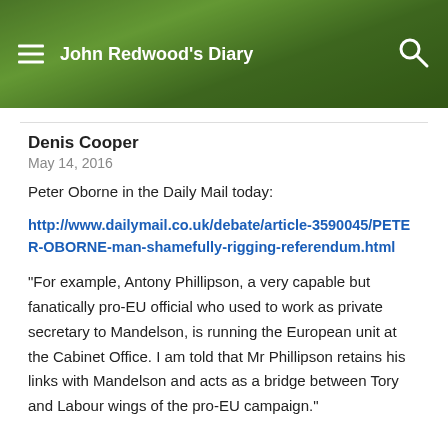John Redwood's Diary
Denis Cooper
May 14, 2016
Peter Oborne in the Daily Mail today:
http://www.dailymail.co.uk/debate/article-3590045/PETER-OBORNE-man-shamefully-rigging-referendum.html
“For example, Antony Phillipson, a very capable but fanatically pro-EU official who used to work as private secretary to Mandelson, is running the European unit at the Cabinet Office. I am told that Mr Phillipson retains his links with Mandelson and acts as a bridge between Tory and Labour wings of the pro-EU campaign.”